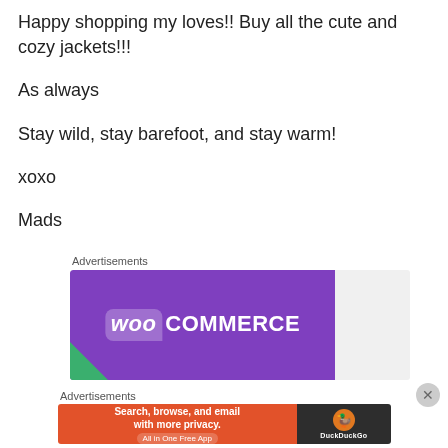Happy shopping my loves!! Buy all the cute and cozy jackets!!!
As always
Stay wild, stay barefoot, and stay warm!
xoxo
Mads
Advertisements
[Figure (logo): WooCommerce advertisement banner with purple background and white WooCommerce logo text with speech bubble icon]
Advertisements
[Figure (logo): DuckDuckGo advertisement banner: orange left side with 'Search, browse, and email with more privacy. All in One Free App' and dark right side with DuckDuckGo duck logo]